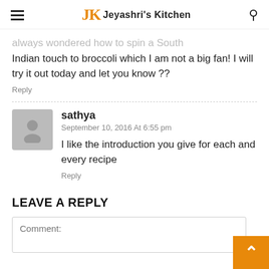JK Jeyashri's Kitchen
always wondered how to spin a South Indian touch to broccoli which I am not a big fan! I will try it out today and let you know ??
Reply
sathya
September 10, 2016 At 6:55 pm
I like the introduction you give for each and every recipe
Reply
LEAVE A REPLY
Comment: